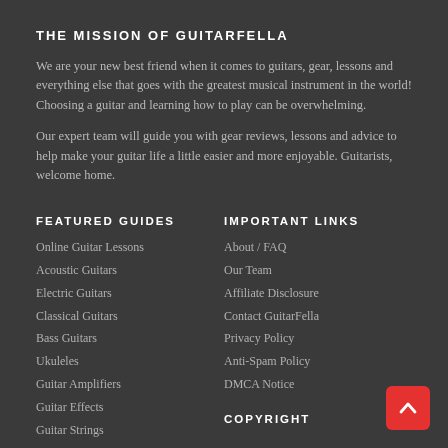THE MISSION OF GUITARFELLA
We are your new best friend when it comes to guitars, gear, lessons and everything else that goes with the greatest musical instrument in the world! Choosing a guitar and learning how to play can be overwhelming.
Our expert team will guide you with gear reviews, lessons and advice to help make your guitar life a little easier and more enjoyable. Guitarists, welcome home.
FEATURED GUIDES
Online Guitar Lessons
Acoustic Guitars
Electric Guitars
Classical Guitars
Bass Guitars
Ukuleles
Guitar Amplifiers
Guitar Effects
Guitar Strings
IMPORTANT LINKS
About / FAQ
Our Team
Affiliate Disclosure
Contact GuitarFella
Privacy Policy
Anti-Spam Policy
DMCA Notice
COPYRIGHT